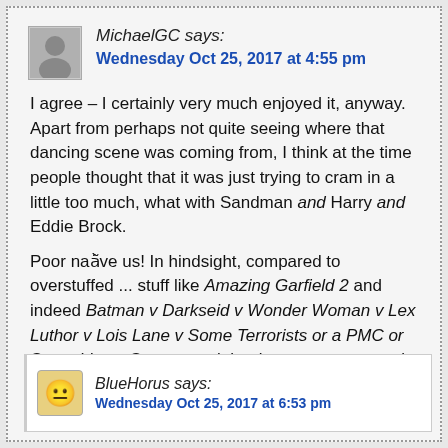MichaelGC says:
Wednesday Oct 25, 2017 at 4:55 pm
I agree – I certainly very much enjoyed it, anyway. Apart from perhaps not quite seeing where that dancing scene was coming from, I think at the time people thought that it was just trying to cram in a little too much, what with Sandman and Harry and Eddie Brock.
Poor naïve us! In hindsight, compared to overstuffed ... stuff like Amazing Garfield 2 and indeed Batman v Darkseid v Wonder Woman v Lex Luthor v Lois Lane v Some Terrorists or a PMC or Something v Superman, it begins to seem sparsely taut and restrainedly well-paced.
Reply
BlueHorus says:
Wednesday Oct 25, 2017 at 6:53 pm